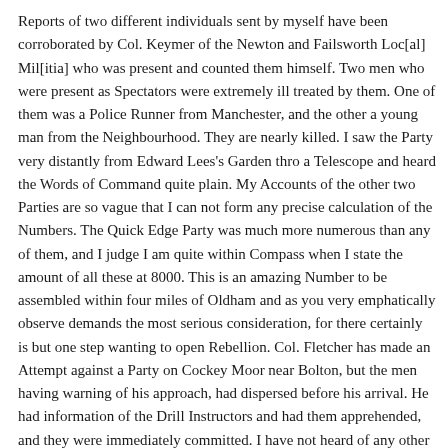Reports of two different individuals sent by myself have been corroborated by Col. Keymer of the Newton and Failsworth Loc[al] Mil[itia] who was present and counted them himself. Two men who were present as Spectators were extremely ill treated by them. One of them was a Police Runner from Manchester, and the other a young man from the Neighbourhood. They are nearly killed. I saw the Party very distantly from Edward Lees's Garden thro a Telescope and heard the Words of Command quite plain. My Accounts of the other two Parties are so vague that I can not form any precise calculation of the Numbers. The Quick Edge Party was much more numerous than any of them, and I judge I am quite within Compass when I state the amount of all these at 8000. This is an amazing Number to be assembled within four miles of Oldham and as you very emphatically observe demands the most serious consideration, for there certainly is but one step wanting to open Rebellion. Col. Fletcher has made an Attempt against a Party on Cockey Moor near Bolton, but the men having warning of his approach, had dispersed before his arrival. He had information of the Drill Instructors and had them apprehended, and they were immediately committed. I have not heard of any other Instance of them being disturbed [e]xcept this.